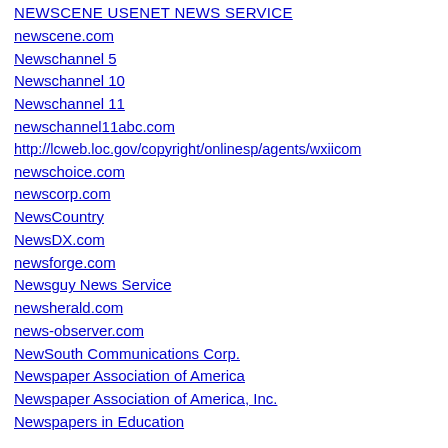NEWSCENE USENET NEWS SERVICE
newscene.com
Newschannel 5
Newschannel 10
Newschannel 11
newschannel11abc.com
http://lcweb.loc.gov/copyright/onlinesp/agents/wxiicom
newschoice.com
newscorp.com
NewsCountry
NewsDX.com
newsforge.com
Newsguy News Service
newsherald.com
news-observer.com
NewSouth Communications Corp.
Newspaper Association of America
Newspaper Association of America, Inc.
Newspapers in Education